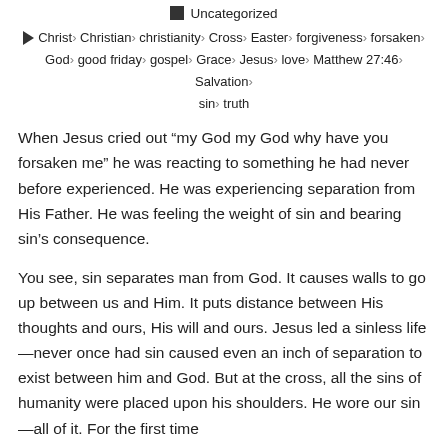Uncategorized
Christ, Christian, christianity, Cross, Easter, forgiveness, forsaken, God, good friday, gospel, Grace, Jesus, love, Matthew 27:46, Salvation, sin, truth
When Jesus cried out “my God my God why have you forsaken me” he was reacting to something he had never before experienced. He was experiencing separation from His Father. He was feeling the weight of sin and bearing sin’s consequence.
You see, sin separates man from God. It causes walls to go up between us and Him. It puts distance between His thoughts and ours, His will and ours. Jesus led a sinless life—never once had sin caused even an inch of separation to exist between him and God. But at the cross, all the sins of humanity were placed upon his shoulders. He wore our sin—all of it. For the first time